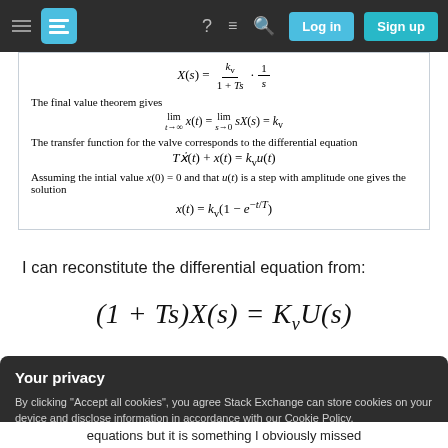Stack Exchange navigation bar with logo, hamburger menu, question mark, chat, search icons, Log in and Sign up buttons
The final value theorem gives
The transfer function for the valve corresponds to the differential equation
Assuming the intial value x(0) = 0 and that u(t) is a step with amplitude one gives the solution
I can reconstitute the differential equation from:
Your privacy
By clicking "Accept all cookies", you agree Stack Exchange can store cookies on your device and disclose information in accordance with our Cookie Policy.
equations but it is something I obviously missed